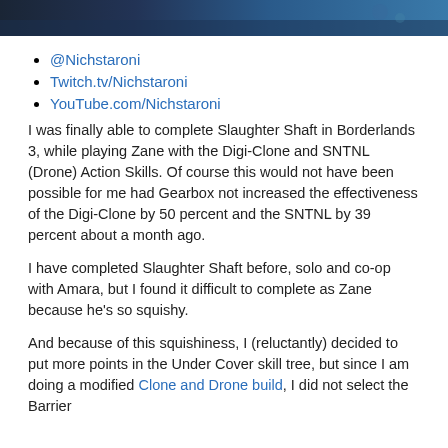[Figure (photo): Top banner image showing a dark blue/teal gaming screenshot from Borderlands 3]
@Nichstaroni
Twitch.tv/Nichstaroni
YouTube.com/Nichstaroni
I was finally able to complete Slaughter Shaft in Borderlands 3, while playing Zane with the Digi-Clone and SNTNL (Drone) Action Skills. Of course this would not have been possible for me had Gearbox not increased the effectiveness of the Digi-Clone by 50 percent and the SNTNL by 39 percent about a month ago.
I have completed Slaughter Shaft before, solo and co-op with Amara, but I found it difficult to complete as Zane because he's so squishy.
And because of this squishiness, I (reluctantly) decided to put more points in the Under Cover skill tree, but since I am doing a modified Clone and Drone build, I did not select the Barrier